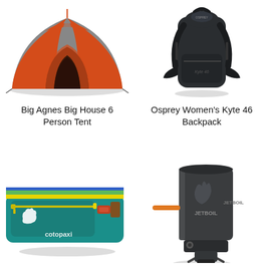[Figure (photo): Orange and grey Big Agnes Big House 6 Person Tent with open door, shown on white background]
Big Agnes Big House 6 Person Tent
[Figure (photo): Dark grey Osprey Women's Kyte 46 Backpack with logo, shown on white background]
Osprey Women's Kyte 46 Backpack
[Figure (photo): Cotopaxi colorful travel bag/toiletry kit with rainbow stripe and teal body, shown on white background]
[Figure (photo): Jetboil camping stove and cook system, dark grey with orange ignitor, shown on white background]